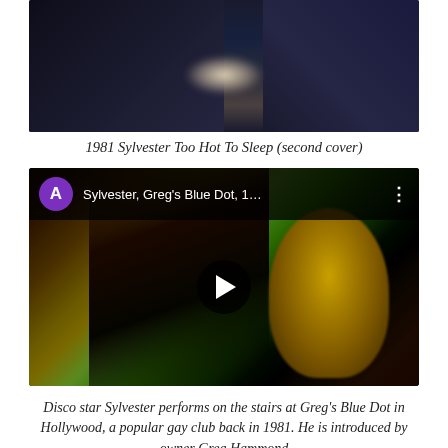[Figure (photo): Dark close-up photo showing a person's neck/chest area wearing a dark jacket, with a light highlight/glow on the skin]
1981 Sylvester Too Hot To Sleep (second cover)
[Figure (screenshot): YouTube video thumbnail showing Sylvester performing at Greg's Blue Dot club, with avatar circle labeled A, title 'Sylvester, Greg's Blue Dot, 1...', three-dots menu icon, and a play button overlay. The video shows a gold-toned figure performing on stage with colorful lighting.]
Disco star Sylvester performs on the stairs at Greg's Blue Dot in Hollywood, a popular gay club back in 1981. He is introduced by owner Greg Hammond